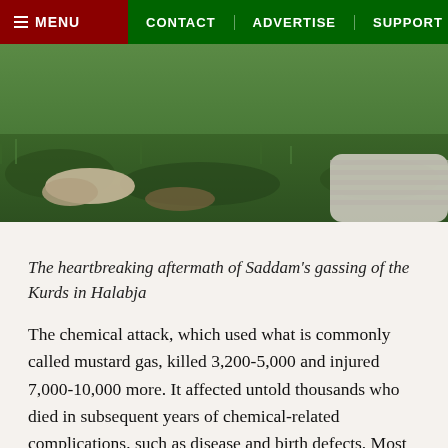MENU | CONTACT | ADVERTISE | SUPPORT
[Figure (photo): Photograph showing the heartbreaking aftermath of Saddam's gassing of the Kurds in Halabja — bodies lying on grass]
The heartbreaking aftermath of Saddam's gassing of the Kurds in Halabja
The chemical attack, which used what is commonly called mustard gas, killed 3,200-5,000 and injured 7,000-10,000 more. It affected untold thousands who died in subsequent years of chemical-related complications, such as disease and birth defects. Most of the victims were Kurdish civilians. The attack was officially recognized after the fall of Saddam by the Iraqi High Criminal Court as an act of genocide against the Kurdish people...